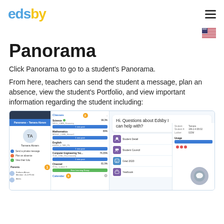edsby
Panorama
Click Panorama to go to a student's Panorama.
From here, teachers can send the student a message, plan an absence, view the student's Portfolio, and view important information regarding the student including:
[Figure (screenshot): Screenshot of the Edsby app showing a student's Panorama view with panels including student profile (Tamara Abram), course list (Science, Mathematics, English, Computer Engineering Tec., Channel), calendar section, and a chat interface with question 'Hi. Questions about Edsby I can help with?']